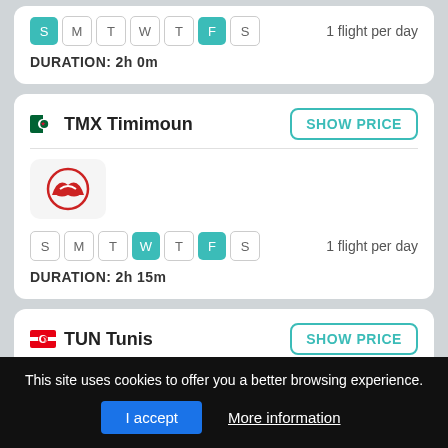S M T W T F S — 1 flight per day
DURATION: 2h 0m
TMX Timimoun
SHOW PRICE
S M T W T F S — 1 flight per day
DURATION: 2h 15m
TUN Tunis
SHOW PRICE
This site uses cookies to offer you a better browsing experience.
I accept
More information